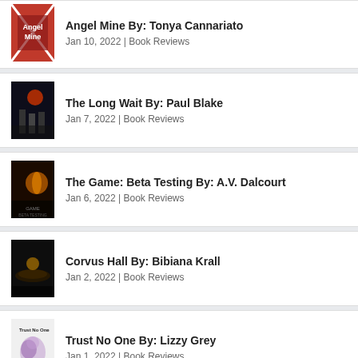Angel Mine By: Tonya Cannariato | Jan 10, 2022 | Book Reviews
The Long Wait By: Paul Blake | Jan 7, 2022 | Book Reviews
The Game: Beta Testing By: A.V. Dalcourt | Jan 6, 2022 | Book Reviews
Corvus Hall By: Bibiana Krall | Jan 2, 2022 | Book Reviews
Trust No One By: Lizzy Grey | Jan 1, 2022 | Book Reviews
Cutting Right to the Chase By: Stefania Mattana | Dec 28, 2021 | Book Reviews